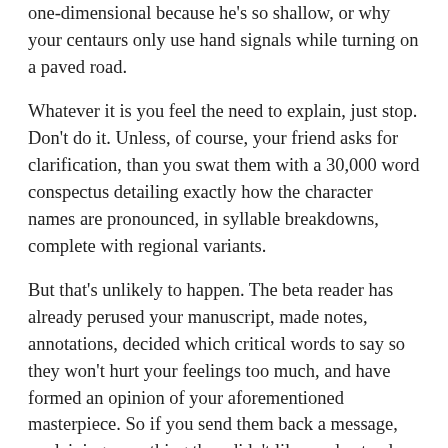one-dimensional because he's so shallow, or why your centaurs only use hand signals while turning on a paved road.
Whatever it is you feel the need to explain, just stop. Don't do it. Unless, of course, your friend asks for clarification, than you swat them with a 30,000 word conspectus detailing exactly how the character names are pronounced, in syllable breakdowns, complete with regional variants.
But that's unlikely to happen. The beta reader has already perused your manuscript, made notes, annotations, decided which critical words to say so they won't hurt your feelings too much, and have formed an opinion of your aforementioned masterpiece. So if you send them back a message, explaining something they didn't like, understand, or simply didn't work for them, you're not educating them about your literary gymnastics that was too subtle for them.